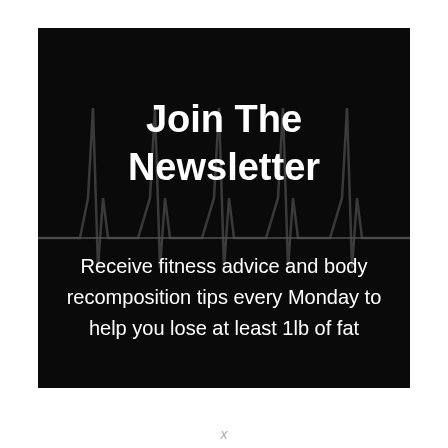Join The Newsletter
[Figure (illustration): Dark black background with a grey EKG/heartbeat waveform pattern overlaid, creating a fitness/health theme.]
Receive fitness advice and body recomposition tips every Monday to help you lose at least 1lb of fat